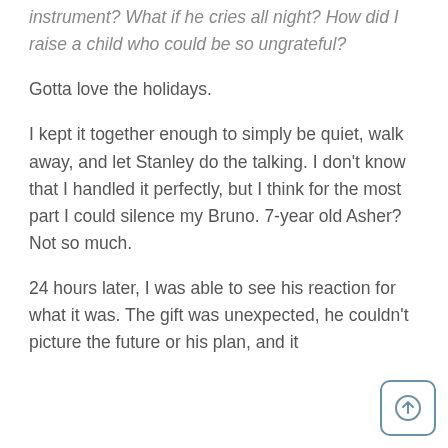instrument? What if he cries all night? How did I raise a child who could be so ungrateful?
Gotta love the holidays.
I kept it together enough to simply be quiet, walk away, and let Stanley do the talking. I don't know that I handled it perfectly, but I think for the most part I could silence my Bruno. 7-year old Asher? Not so much.
24 hours later, I was able to see his reaction for what it was. The gift was unexpected, he couldn't picture the future or his plan, and it